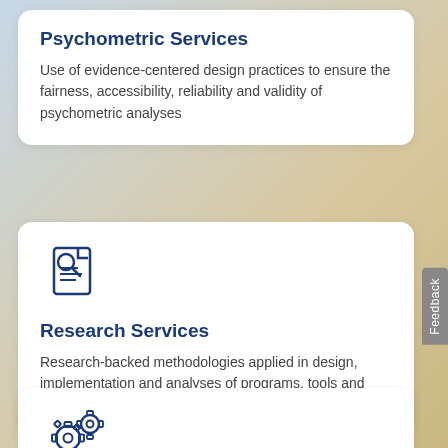Psychometric Services
Use of evidence-centered design practices to ensure the fairness, accessibility, reliability and validity of psychometric analyses
[Figure (illustration): Icon of a document with a magnifying glass, drawn in dark navy blue outline style]
Research Services
Research-backed methodologies applied in design, implementation and analyses of programs, tools and interventions
[Figure (illustration): Icon of two gear/cog wheels, drawn in dark navy blue outline style]